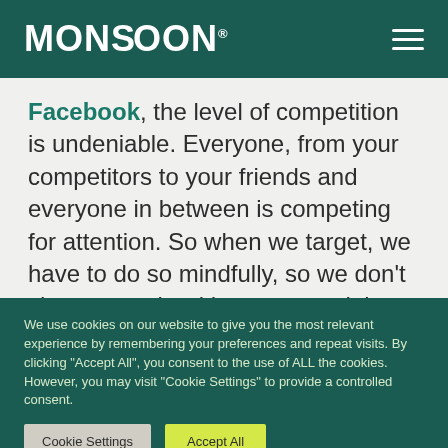MONSOON
Facebook, the level of competition is undeniable. Everyone, from your competitors to your friends and everyone in between is competing for attention. So when we target, we have to do so mindfully, so we don't share our ads with non-potential customers, thus wasting ad spend. The slightest target misstep can lead to BIG results
We use cookies on our website to give you the most relevant experience by remembering your preferences and repeat visits. By clicking "Accept All", you consent to the use of ALL the cookies. However, you may visit "Cookie Settings" to provide a controlled consent.
Cookie Settings | Accept All